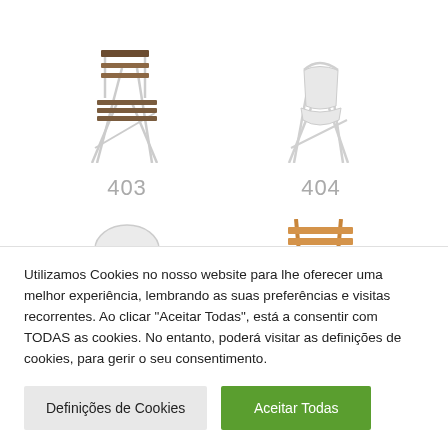[Figure (photo): Folding bistro chair with wooden slats and white metal frame, product number 403]
[Figure (photo): White folding chair with metal frame, product number 404]
403
404
[Figure (photo): Partial view of a white rounded chair (bottom portion cut off)]
[Figure (photo): Partial view of an orange/tan metal chair (bottom portion cut off)]
Utilizamos Cookies no nosso website para lhe oferecer uma melhor experiência, lembrando as suas preferências e visitas recorrentes. Ao clicar "Aceitar Todas", está a consentir com TODAS as cookies. No entanto, poderá visitar as definições de cookies, para gerir o seu consentimento.
Definições de Cookies
Aceitar Todas